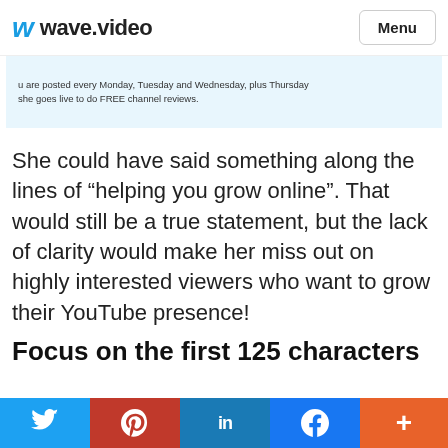wave.video  Menu
[Figure (screenshot): Partial screenshot of a webpage showing text: 'u are posted every Monday, Tuesday and Wednesday, plus Thursday she goes live to do FREE channel reviews.']
She could have said something along the lines of “helping you grow online”. That would still be a true statement, but the lack of clarity would make her miss out on highly interested viewers who want to grow their YouTube presence!
Focus on the first 125 characters
There’s an age-old approach to journalistic
Twitter  Pinterest  LinkedIn  Facebook  More